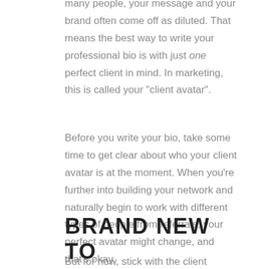many people, your message and your brand often come off as diluted. That means the best way to write your professional bio is with just one perfect client in mind. In marketing, this is called your "client avatar".
Before you write your bio, take some time to get clear about who your client avatar is at the moment. When you're further into building your network and naturally begin to work with different types of people from referrals, your perfect avatar might change, and that's okay.
But for now, stick with the client avatar that made you excited about starting in luxury real estate in the first place, and envision talking directly to them when you write your bio.
BRAND NEW TO